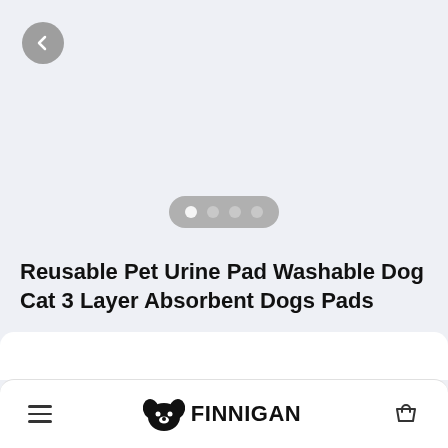[Figure (screenshot): Back navigation button — circular grey button with left arrow]
[Figure (other): Image carousel pagination indicator — 4 dots on a grey pill, first dot is white/active]
Reusable Pet Urine Pad Washable Dog Cat 3 Layer Absorbent Dogs Pads
White, 40 x 60
£16.95
FINNIGAN